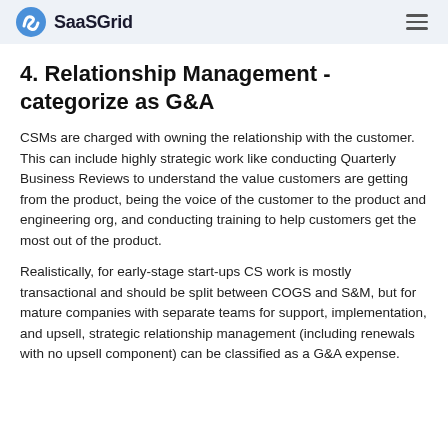SaaSGrid
4. Relationship Management - categorize as G&A
CSMs are charged with owning the relationship with the customer. This can include highly strategic work like conducting Quarterly Business Reviews to understand the value customers are getting from the product, being the voice of the customer to the product and engineering org, and conducting training to help customers get the most out of the product.
Realistically, for early-stage start-ups CS work is mostly transactional and should be split between COGS and S&M, but for mature companies with separate teams for support, implementation, and upsell, strategic relationship management (including renewals with no upsell component) can be classified as a G&A expense.